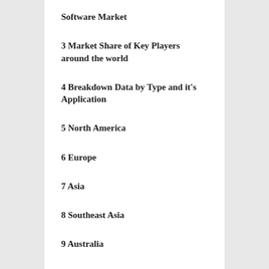Software Market
3 Market Share of Key Players around the world
4 Breakdown Data by Type and it's Application
5 North America
6 Europe
7 Asia
8 Southeast Asia
9 Australia